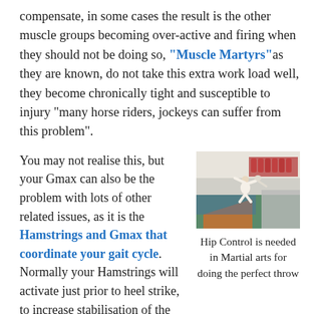compensate, in some cases the result is the other muscle groups becoming over-active and firing when they should not be doing so, "Muscle Martyrs" as they are known, do not take this extra work load well, they become chronically tight and susceptible to injury "many horse riders, jockeys can suffer from this problem".
You may not realise this, but your Gmax can also be the problem with lots of other related issues, as it is the Hamstrings and Gmax that coordinate your gait cycle. Normally your Hamstrings will activate just prior to heel strike, to increase stabilisation of the Sacroiliac Joint, but if the Gmax is week the
[Figure (photo): Photo of a martial arts throw on a mat in a sports hall, with orange and blue mats visible and red chairs in the background.]
Hip Control is needed in Martial arts for doing the perfect throw